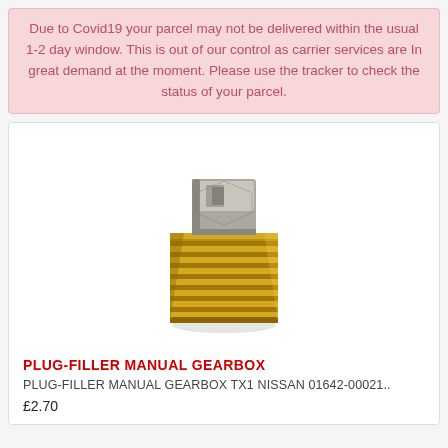Due to Covid19 your parcel may not be delivered within the usual 1-2 day window. This is out of our control as carrier services are In great demand at the moment. Please use the tracker to check the status of your parcel.
[Figure (photo): A brass/zinc threaded filler plug (square head bolt) for a manual gearbox, showing gold/yellow threaded cylindrical body with a square metallic head on top.]
PLUG-FILLER MANUAL GEARBOX
PLUG-FILLER MANUAL GEARBOX TX1 NISSAN 01642-00021..
£2.70